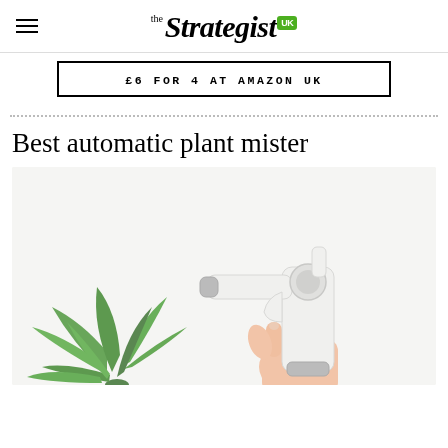the Strategist UK
£6 FOR 4 AT AMAZON UK
Best automatic plant mister
[Figure (photo): A hand holding a white automatic plant mister gun-shaped device, pointed at a green leafy plant on a white background.]